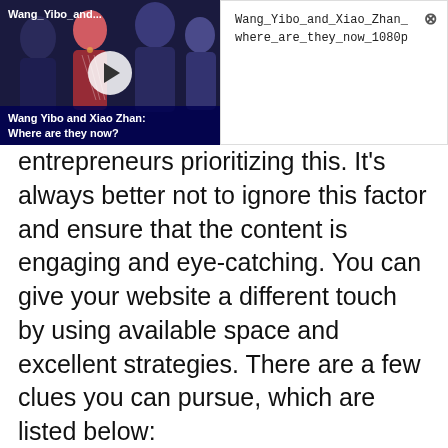[Figure (screenshot): Video thumbnail showing Wang Yibo and Xiao Zhan with play button overlay and title bar, alongside a popup info panel with filename 'Wang_Yibo_and_Xiao_Zhan_where_are_they_now_1080p' and a close (X) button.]
entrepreneurs prioritizing this. It's always better not to ignore this factor and ensure that the content is engaging and eye-catching. You can give your website a different touch by using available space and excellent strategies. There are a few clues you can pursue, which are listed below:
Ensure that the CTA is visible.
Use clear and descriptive headlines, which are comprehensive enough. For this, you may use